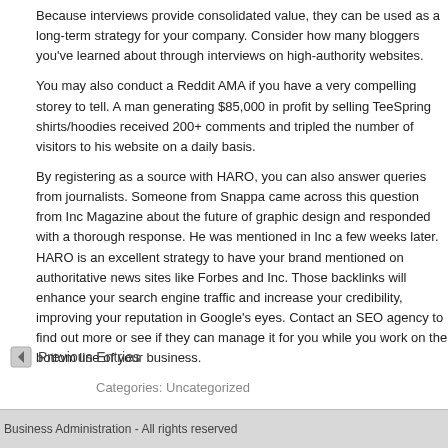Because interviews provide consolidated value, they can be used as a long-term strategy for your company. Consider how many bloggers you've learned about through interviews on high-authority websites.
You may also conduct a Reddit AMA if you have a very compelling storey to tell. A man generating $85,000 in profit by selling TeeSpring shirts/hoodies received 200+ comments and tripled the number of visitors to his website on a daily basis.
By registering as a source with HARO, you can also answer queries from journalists. Someone from Snappa came across this question from Inc Magazine about the future of graphic design and responded with a thorough response. He was mentioned in Inc a few weeks later. HARO is an excellent strategy to have your brand mentioned on authoritative news sites like Forbes and Inc. Those backlinks will enhance your search engine traffic and increase your credibility, improving your reputation in Google's eyes. Contact an SEO agency to find out more or see if they can manage it for you while you work on the bottom line of your business.
Categories: Uncategorized
← Previous Entries
Business Administration - All rights reserved